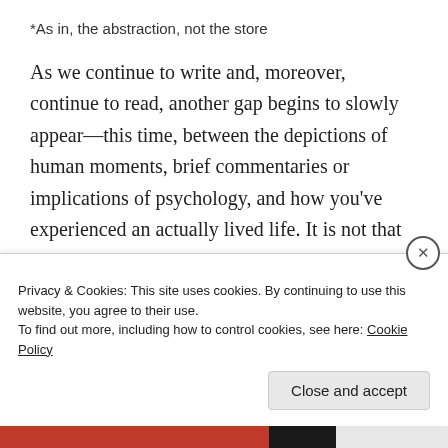*As in, the abstraction, not the store
As we continue to write and, moreover, continue to read, another gap begins to slowly appear—this time, between the depictions of human moments, brief commentaries or implications of psychology, and how you've experienced an actually lived life. It is not that these renowned authors are getting anything wrong, exactly; it's that you realize that their greatness often lies not in accurately describing life but in convincingly describing it. And this relates back to an
Privacy & Cookies: This site uses cookies. By continuing to use this website, you agree to their use.
To find out more, including how to control cookies, see here: Cookie Policy
Close and accept